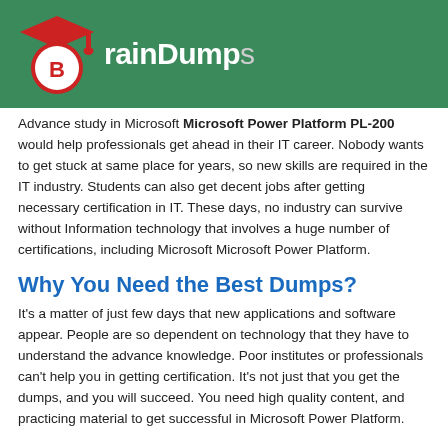[Figure (logo): BrainDumps logo with graduation cap and circular badge on green header background]
Advance study in Microsoft Microsoft Power Platform PL-200 would help professionals get ahead in their IT career. Nobody wants to get stuck at same place for years, so new skills are required in the IT industry. Students can also get decent jobs after getting necessary certification in IT. These days, no industry can survive without Information technology that involves a huge number of certifications, including Microsoft Microsoft Power Platform.
Why You Need the Best Dumps?
It's a matter of just few days that new applications and software appear. People are so dependent on technology that they have to understand the advance knowledge. Poor institutes or professionals can't help you in getting certification. It's not just that you get the dumps, and you will succeed. You need high quality content, and practicing material to get successful in Microsoft Power Platform.